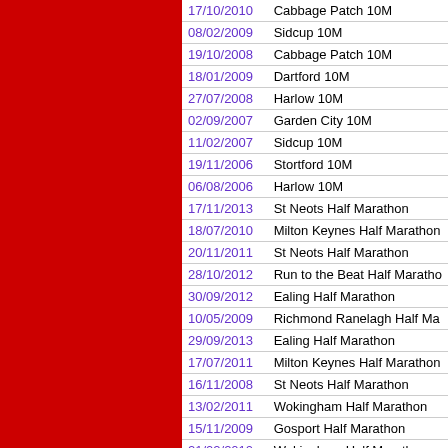| Date | Race |
| --- | --- |
| 17/10/2010 | Cabbage Patch 10M |
| 08/02/2009 | Sidcup 10M |
| 19/10/2008 | Cabbage Patch 10M |
| 18/01/2009 | Dartford 10M |
| 27/07/2008 | Harlow 10M |
| 02/09/2007 | Garden City 10M |
| 11/02/2007 | Sidcup 10M |
| 19/11/2006 | Stortford 10M |
| 06/08/2006 | Harlow 10M |
| 17/11/2013 | St Neots Half Marathon |
| 18/07/2010 | Milton Keynes Half Marathon |
| 20/11/2011 | St Neots Half Marathon |
| 28/10/2012 | Run to the Beat Half Marathon |
| 30/09/2012 | Ealing Half Marathon |
| 10/05/2009 | Richmond Ranelagh Half Ma... |
| 29/09/2013 | Ealing Half Marathon |
| 17/07/2011 | Milton Keynes Half Marathon |
| 16/11/2008 | St Neots Half Marathon |
| 13/02/2011 | Wokingham Half Marathon |
| 15/11/2009 | Gosport Half Marathon |
| 21/02/2010 | Wokingham Half Marathon |